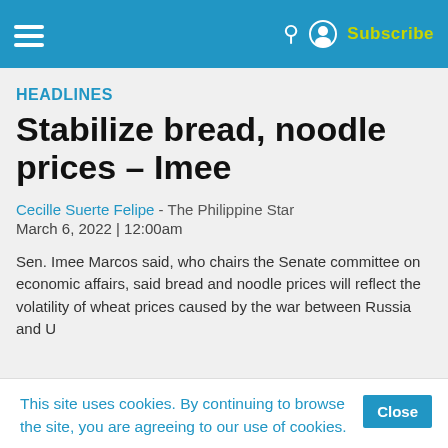HEADLINES | Subscribe
HEADLINES
Stabilize bread, noodle prices – Imee
Cecille Suerte Felipe - The Philippine Star
March 6, 2022 | 12:00am
Sen. Imee Marcos said, who chairs the Senate committee on economic affairs, said bread and noodle prices will reflect the volatility of wheat prices caused by the war between Russia and U
This site uses cookies. By continuing to browse the site, you are agreeing to our use of cookies.